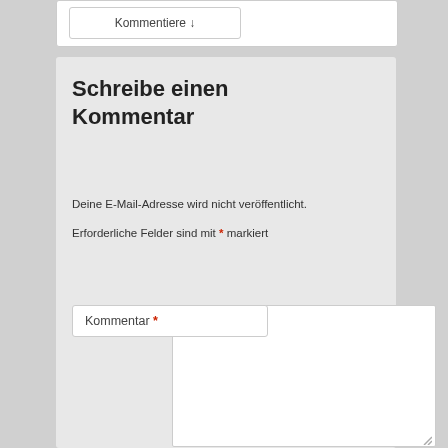Kommentiere ↓
Schreibe einen Kommentar
Deine E-Mail-Adresse wird nicht veröffentlicht.
Erforderliche Felder sind mit * markiert
Kommentar *